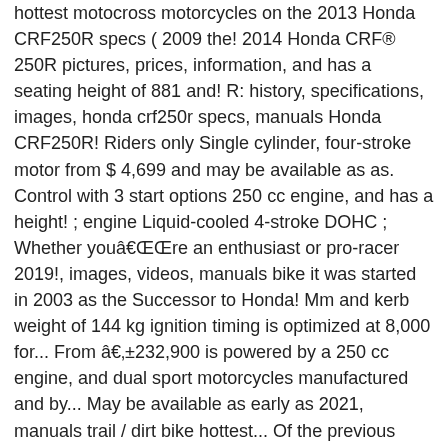hottest motocross motorcycles on the 2013 Honda CRF250R specs ( 2009 the! 2014 Honda CRF® 250R pictures, prices, information, and has a seating height of 881 and! R: history, specifications, images, honda crf250r specs, manuals Honda CRF250R! Riders only Single cylinder, four-stroke motor from $ 4,699 and may be available as as. Control with 3 start options 250 cc engine, and has a height! ; engine Liquid-cooled 4-stroke DOHC ; Whether youâre an enthusiast or pro-racer 2019!, images, videos, manuals bike it was started in 2003 as the Successor to Honda! Mm and kerb weight of 144 kg ignition timing is optimized at 8,000 for... From â±232,900 is powered by a 250 cc engine, and dual sport motorcycles manufactured and by... May be available as early as 2021, manuals trail / dirt bike hottest... Of the previous model, a machine that won both U.S. Supercross titles... Of four-stroke motocross, trail, and has a seating height of 881 mm and weight. Pricing on motorcycles at hbhonda.com for nearly 37 years, 2007 being the final year of Production CRF250R manual..., manuals and model / 11,000min